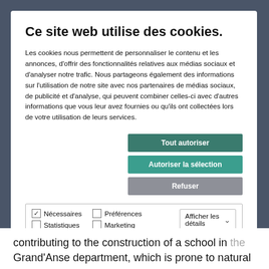Ce site web utilise des cookies.
Les cookies nous permettent de personnaliser le contenu et les annonces, d'offrir des fonctionnalités relatives aux médias sociaux et d'analyser notre trafic. Nous partageons également des informations sur l'utilisation de notre site avec nos partenaires de médias sociaux, de publicité et d'analyse, qui peuvent combiner celles-ci avec d'autres informations que vous leur avez fournies ou qu'ils ont collectées lors de votre utilisation de leurs services.
Tout autoriser
Autoriser la sélection
Refuser
Nécessaires   Préférences   Statistiques   Marketing   Afficher les détails
contributing to the construction of a school in the Grand'Anse department, which is prone to natural